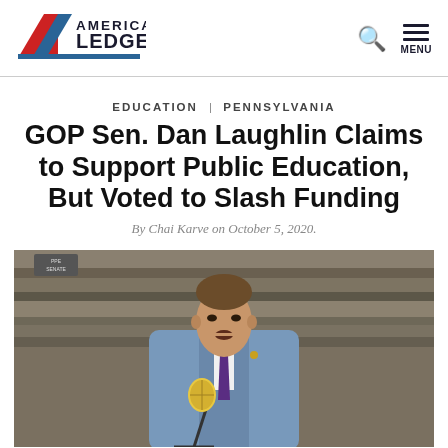[Figure (logo): American Ledger logo with red and blue triangle/chevron icon and text AMERICAN LEDGER]
EDUCATION | PENNSYLVANIA
GOP Sen. Dan Laughlin Claims to Support Public Education, But Voted to Slash Funding
By Chai Karve on October 5, 2020.
[Figure (photo): Photo of a man in a blue suit with a purple tie speaking at a microphone outdoors against a rocky background]